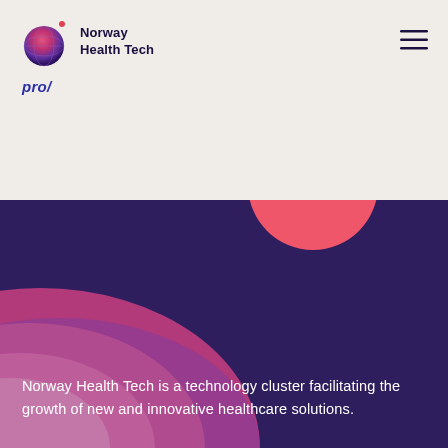[Figure (logo): Norway Health Tech logo with globe icon and text]
pro/
[Figure (illustration): Dark purple background section with pink circle and colorful gradient blob/arc shapes in pink-magenta-purple at bottom left]
Norway Health Tech is a technology cluster facilitating the growth of new and innovative healthcare solutions.